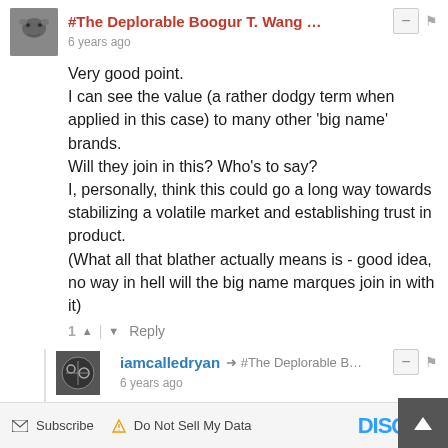#The Deplorable Boogur T. Wang … · 6 years ago
Very good point.
I can see the value (a rather dodgy term when applied in this case) to many other 'big name' brands.
Will they join in this? Who's to say?
I, personally, think this could go a long way towards stabilizing a volatile market and establishing trust in product.
(What all that blather actually means is - good idea, no way in hell will the big name marques join in with it)
1 ↑ | ↓ Reply
iamcalledryan → #The Deplorable B… · 6 years ago
I agree - especially with the last bit!
2 ↑ | ↓ Reply
Subscribe  ⚠ Do Not Sell My Data  DISQUS